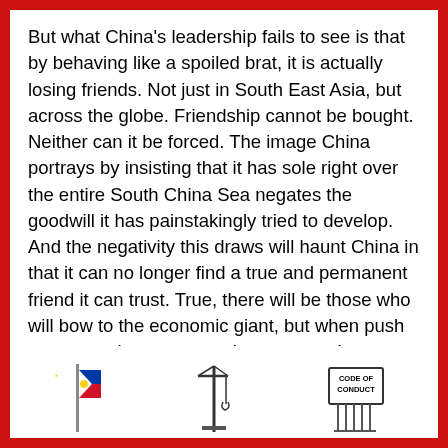But what China's leadership fails to see is that by behaving like a spoiled brat, it is actually losing friends. Not just in South East Asia, but across the globe. Friendship cannot be bought. Neither can it be forced. The image China portrays by insisting that it has sole right over the entire South China Sea negates the goodwill it has painstakingly tried to develop. And the negativity this draws will haunt China in that it can no longer find a true and permanent friend it can trust. True, there will be those who will bow to the economic giant, but when push comes to shove, expect these same characters to be the first to jump ship.
[Figure (illustration): Three illustrations at the bottom: a Philippine flag, a ship crane/mast, and a 'Code of Conduct' sign with vertical lines.]